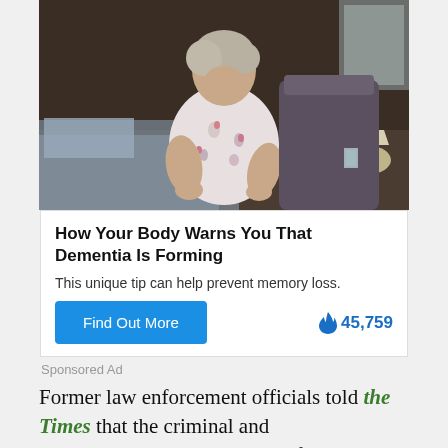[Figure (photo): Elderly woman in floral pajamas sitting on edge of bed, looking down at her hands, in a dim bedroom with a lamp visible in background.]
How Your Body Warns You That Dementia Is Forming
This unique tip can help prevent memory loss.
Find Out More   🔥 45,759
Sponsored Ad
Former law enforcement officials told the Times that the criminal and counterintelligence elements of the investigation were combined because Trump's firing of Comey could constitute both a crime and a national security threat as it